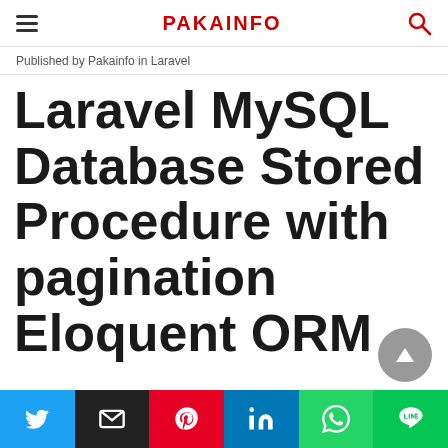PAKAINFO
Published by Pakainfo in Laravel
Laravel MySQL Database Stored Procedure with pagination Eloquent ORM
[Figure (infographic): Social share buttons row: Twitter (blue), Email (black), Pinterest (red), LinkedIn (blue), WhatsApp (green), LINE (green)]